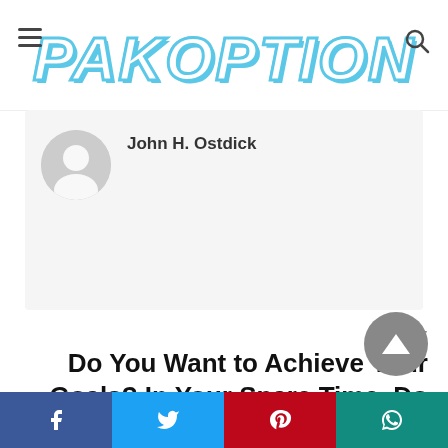PAKOPTION
John H. Ostdick
NEXT
Do You Want to Achieve Your Goals? In Your Spare Time, Do These 17 Things »
PREVIOUS
« What Is Cognitive Behavioral Therapy (CBT) and How Does It Work?
[Figure (other): Social share bar with Facebook, Twitter, Pinterest, WhatsApp icons]